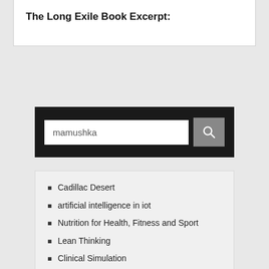The Long Exile Book Excerpt:
mamushka
Cadillac Desert
artificial intelligence in iot
Nutrition for Health, Fitness and Sport
Lean Thinking
Clinical Simulation
The Ultimate Hitchhiker's Guide to the